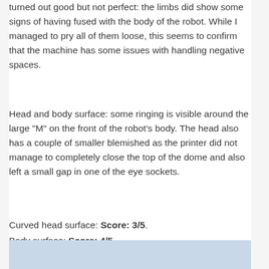turned out good but not perfect: the limbs did show some signs of having fused with the body of the robot. While I managed to pry all of them loose, this seems to confirm that the machine has some issues with handling negative spaces.
Head and body surface: some ringing is visible around the large "M" on the front of the robot's body. The head also has a couple of smaller blemished as the printer did not manage to completely close the top of the dome and also left a small gap in one of the eye sockets.
Curved head surface: Score: 3/5. Body surface: Score: 4/5.
[Figure (photo): Light blue/grey colored image area at the bottom of the page, partially visible.]